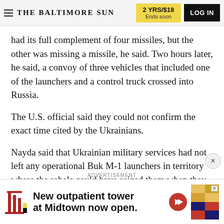THE BALTIMORE SUN | 2 YRS/$18 Ends soon | LOG IN
had its full complement of four missiles, but the other was missing a missile, he said. Two hours later, he said, a convoy of three vehicles that included one of the launchers and a control truck crossed into Russia.
The U.S. official said they could not confirm the exact time cited by the Ukrainians.
Nayda said that Ukrainian military services had not left any operational Buk M-1 launchers in territory where the rebels could have seized them when they
ADVERTISEMENT
[Figure (infographic): Advertisement banner for 'New outpatient tower at Midtown now open.' with hospital column logo, red arrow button, and Maryland flag image.]